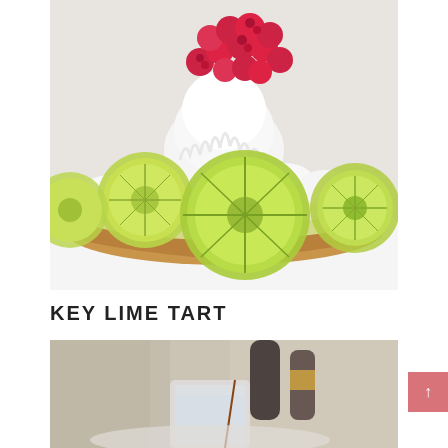[Figure (photo): Close-up photo of a key lime tart/pie with a graham cracker crust, cream filling, whipped cream, lime slices, and fresh raspberries on top, on a white plate.]
KEY LIME TART
[Figure (photo): Partial photo showing a blurred background with bottles and what appears to be a drink or dessert preparation scene.]